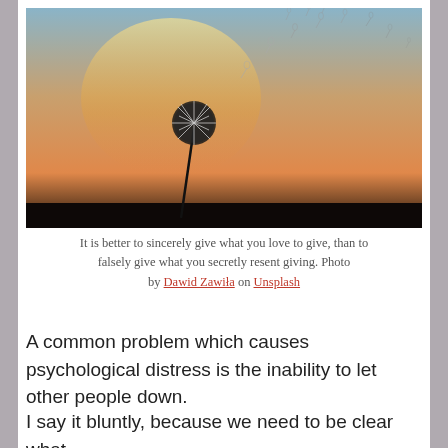[Figure (photo): A dandelion silhouette against a warm sunset sky with seeds blowing away in the wind]
It is better to sincerely give what you love to give, than to falsely give what you secretly resent giving. Photo by Dawid Zawiła on Unsplash
A common problem which causes psychological distress is the inability to let other people down.
I say it bluntly, because we need to be clear what